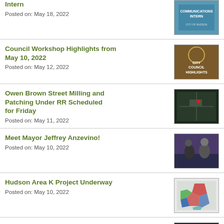Intern
Posted on: May 18, 2022
Council Workshop Highlights from May 10, 2022
Posted on: May 12, 2022
Owen Brown Street Milling and Patching Under RR Scheduled for Friday
Posted on: May 11, 2022
Meet Mayor Jeffrey Anzevino!
Posted on: May 10, 2022
Hudson Area K Project Underway
Posted on: May 10, 2022
City Thanks All for Making Earth